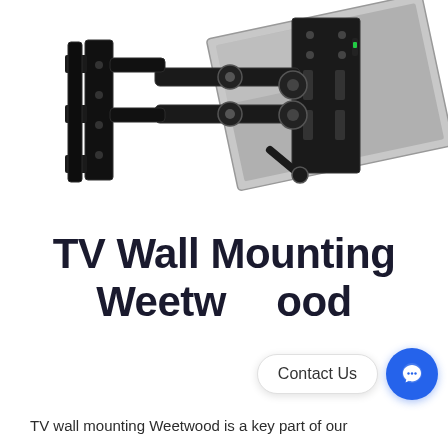[Figure (photo): A full-motion articulating TV wall mount bracket shown extended at an angle, with a TV panel attached, displaying the mounting hardware mechanism including arms and VESA plate]
TV Wall Mounting Weetwood
TV wall mounting Weetwood is a key part of our